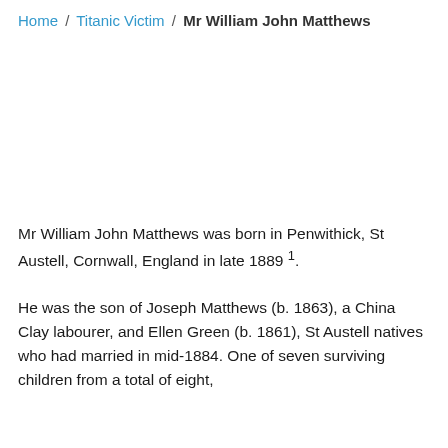Home / Titanic Victim / Mr William John Matthews
Mr William John Matthews was born in Penwithick, St Austell, Cornwall, England in late 1889 1.
He was the son of Joseph Matthews (b. 1863), a China Clay labourer, and Ellen Green (b. 1861), St Austell natives who had married in mid-1884. One of seven surviving children from a total of eight,